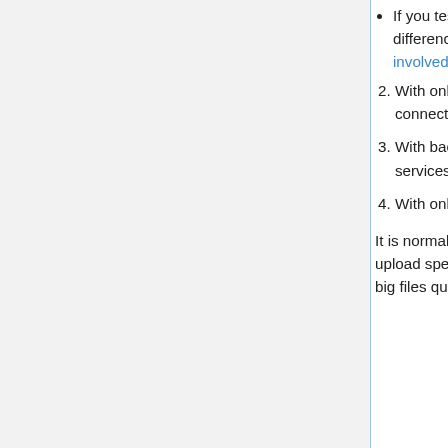If you test both Ethernet and WiFi and find a significant difference in speed then that is due to the losses and interference involved in Wi-Fi.
With only one device on your network using the internet connection.
With background internet applications and processes like cloud services (for example, iCloud, Google Drive or torrents) stopped.
With only the tab for the speed test open in your web browser.
It is normal for the download speed to be much faster than the upload speed. This is intentional, so that you are able to download big files quickly. Normal, good results for 6 Mbps service would be